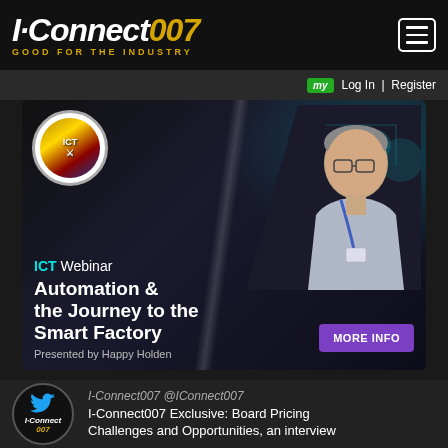I-Connect007 GOOD FOR THE INDUSTRY
my Log In | Register
[Figure (infographic): ICT Webinar promotional banner: Automation & the Journey to the Smart Factory, Presented by Happy Holden, MORE INFO button, with ICT logo badge and speaker photo]
I-Connect007 @IConnect007
I-Connect007 Exclusive: Board Pricing Challenges and Opportunities, an interview